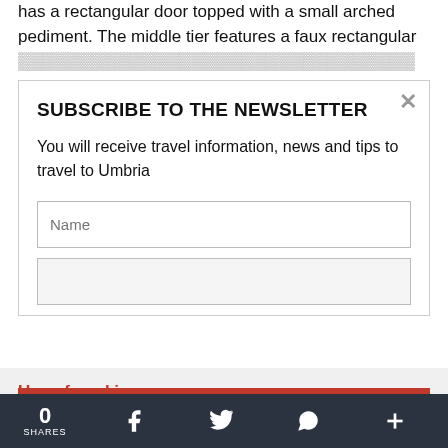has a rectangular door topped with a small arched pediment. The middle tier features a faux rectangular ...
SUBSCRIBE TO THE NEWSLETTER
You will receive travel information, news and tips to travel to Umbria
Name
Use of cookies
This site uses essential cookies to ensure its proper functioning and tracking cookies to understand how you interact with it. You can disable tracking cookies by clicking on settings. Read
0 SHARES